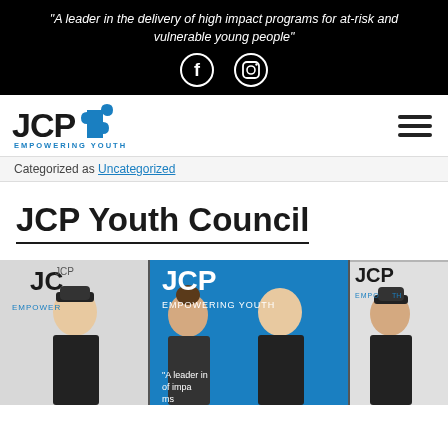"A leader in the delivery of high impact programs for at-risk and vulnerable young people"
[Figure (logo): JCP Empowering Youth logo with blue puzzle piece, and social media icons (Facebook, Instagram) on black background]
[Figure (logo): JCP Empowering Youth logo - black bold JCP text with blue puzzle piece and tagline EMPOWERING YOUTH in blue]
Categorized as Uncategorized
JCP Youth Council
[Figure (photo): Group photo of four young people wearing JCP Empowering Youth branded black zip-up jackets, standing in front of JCP branded pull-up banners]